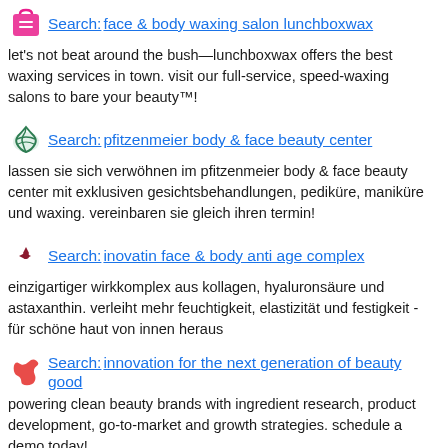Search: face & body waxing salon lunchboxwax
let's not beat around the bush—lunchboxwax offers the best waxing services in town. visit our full-service, speed-waxing salons to bare your beauty™!
Search: pfitzenmeier body & face beauty center
lassen sie sich verwöhnen im pfitzenmeier body & face beauty center mit exklusiven gesichtsbehandlungen, pediküre, maniküre und waxing. vereinbaren sie gleich ihren termin!
Search: inovatin face & body anti age complex
einzigartiger wirkkomplex aus kollagen, hyaluronsäure und astaxanthin. verleiht mehr feuchtigkeit, elastizität und festigkeit - für schöne haut von innen heraus
Search: innovation for the next generation of beauty good
powering clean beauty brands with ingredient research, product development, go-to-market and growth strategies. schedule a demo today!
Search: fantasylandpoker.nl open face chinees poker
fantasylandpoker.nl - open face chinees poker